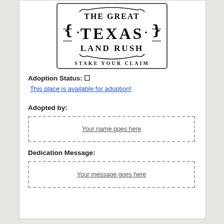[Figure (logo): The Great Texas Land Rush - Stake Your Claim logo with decorative border and typography]
Adoption Status:
This place is available for adoption!
Adopted by:
Your name goes here
Dedication Message:
Your message goes here